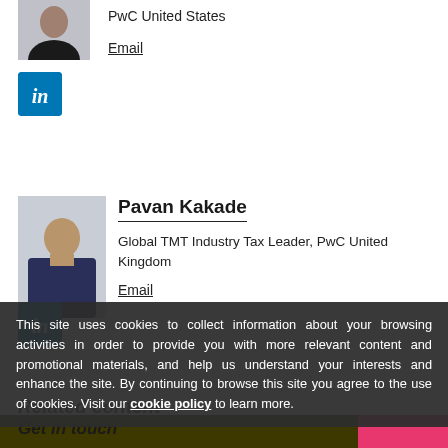PwC United States
Email
[Figure (logo): LinkedIn logo button, blue square with 'in' text]
Pavan Kakade
[Figure (photo): Portrait photo of Pavan Kakade, a man wearing glasses and a dark suit with a light blue shirt]
Global TMT Industry Tax Leader, PwC United Kingdom
Email
[Figure (logo): LinkedIn logo button, blue square with 'in' text]
This site uses cookies to collect information about your browsing activities in order to provide you with more relevant content and promotional materials, and help us understand your interests and enhance the site. By continuing to browse this site you agree to the use of cookies. Visit our cookie policy to learn more.
Related content
Get in touch